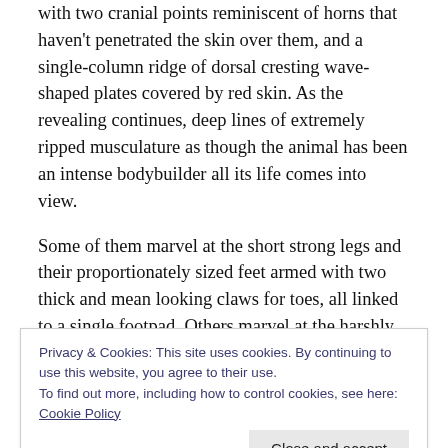with two cranial points reminiscent of horns that haven't penetrated the skin over them, and a single-column ridge of dorsal cresting wave-shaped plates covered by red skin. As the revealing continues, deep lines of extremely ripped musculature as though the animal has been an intense bodybuilder all its life comes into view.
Some of them marvel at the short strong legs and their proportionately sized feet armed with two thick and mean looking claws for toes, all linked to a single footpad. Others marvel at the harshly bony knees of the two hind legs with similar two-clawed, one-padded foot with a third
Privacy & Cookies: This site uses cookies. By continuing to use this website, you agree to their use.
To find out more, including how to control cookies, see here: Cookie Policy
riveted by the exposing of the creature's wings. They're